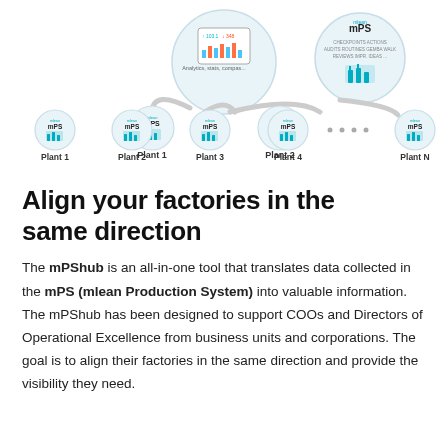[Figure (infographic): Network diagram showing mPShub central analytics dashboard connected via cable-like connectors to multiple mPS (mlean Production System) plant nodes labeled Plant 1 through Plant N. A second hub on the right shows mPS with CHECKPOINTS, ACTIONS, AUDITS, ROUTINES, GEMBA WALK, REVIEWS, IMPR. IDEAS labels. Each plant node shows a factory icon with bar charts.]
Align your factories in the same direction
The mPShub is an all-in-one tool that translates data collected in the mPS (mlean Production System) into valuable information. The mPShub has been designed to support COOs and Directors of Operational Excellence from business units and corporations. The goal is to align their factories in the same direction and provide the visibility they need.